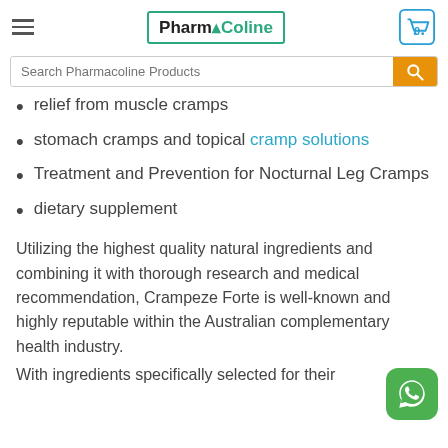PharmaColine
relief from muscle cramps
stomach cramps and topical cramp solutions
Treatment and Prevention for Nocturnal Leg Cramps
dietary supplement
Utilizing the highest quality natural ingredients and combining it with thorough research and medical recommendation, Crampeze Forte is well-known and highly reputable within the Australian complementary health industry.
With ingredients specifically selected for their